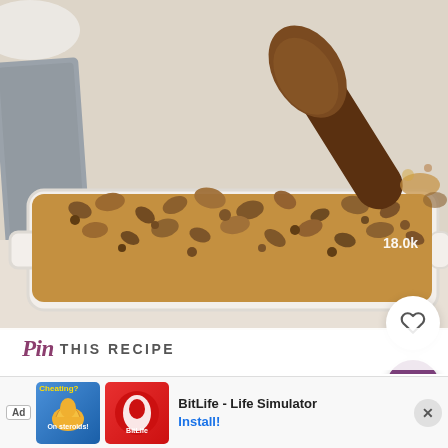[Figure (photo): Overhead photo of a white baking dish with pecan crumble topping (sweet potato casserole), with a wooden spoon scooping out a portion, and a gray linen cloth to the side. A save count of 18.0k is visible in the bottom corner.]
Pin THIS RECIPE
FEATURED COMMENT
“This w… iends’ giving…
[Figure (screenshot): Advertisement banner for BitLife - Life Simulator app. Shows Ad label, two promotional images (one with flexing arm illustration, one with BitLife logo on red background), app name 'BitLife - Life Simulator', and an 'Install!' button.]